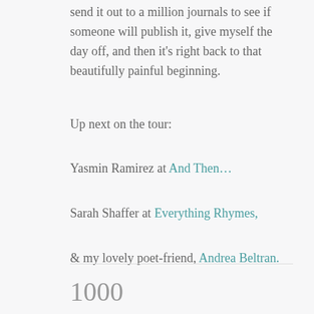send it out to a million journals to see if someone will publish it, give myself the day off, and then it's right back to that beautifully painful beginning.
Up next on the tour:
Yasmin Ramirez at And Then...
Sarah Shaffer at Everything Rhymes,
& my lovely poet-friend, Andrea Beltran.
1000